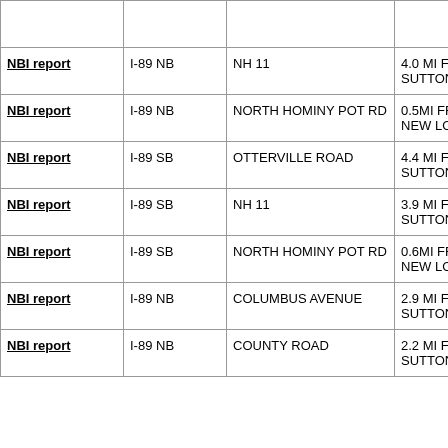|  |  |  |  |
| --- | --- | --- | --- |
|  |  |  |  |
| NBI report | I-89 NB | NH 11 | 4.0 MI FR SUTTON |
| NBI report | I-89 NB | NORTH HOMINY POT RD | 0.5MI FRO NEW LON TL |
| NBI report | I-89 SB | OTTERVILLE ROAD | 4.4 MI FR SUTTON |
| NBI report | I-89 SB | NH 11 | 3.9 MI FR SUTTON |
| NBI report | I-89 SB | NORTH HOMINY POT RD | 0.6MI FRO NEW LON TL. |
| NBI report | I-89 NB | COLUMBUS AVENUE | 2.9 MI FR SUTTON |
| NBI report | I-89 NB | COUNTY ROAD | 2.2 MI FR SUTTON |